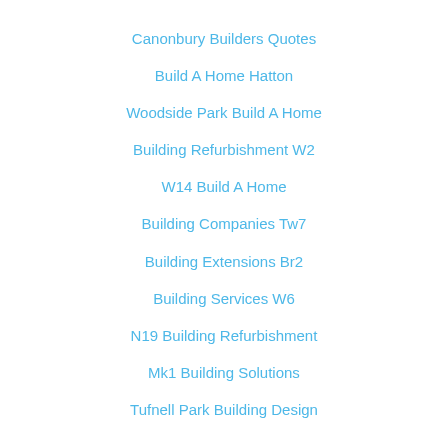Canonbury Builders Quotes
Build A Home Hatton
Woodside Park Build A Home
Building Refurbishment W2
W14 Build A Home
Building Companies Tw7
Building Extensions Br2
Building Services W6
N19 Building Refurbishment
Mk1 Building Solutions
Tufnell Park Building Design